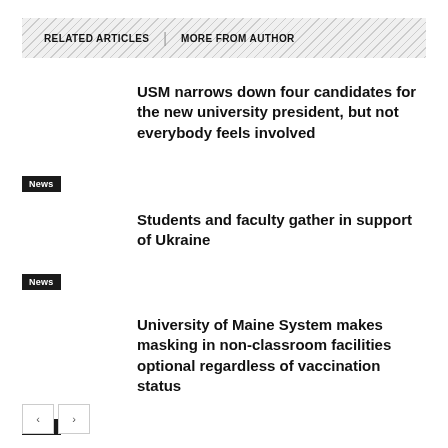RELATED ARTICLES   MORE FROM AUTHOR
USM narrows down four candidates for the new university president, but not everybody feels involved
Students and faculty gather in support of Ukraine
University of Maine System makes masking in non-classroom facilities optional regardless of vaccination status